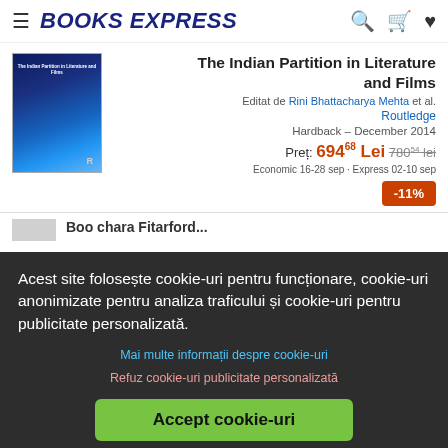BOOKS EXPRESS
[Figure (photo): Book cover of The Indian Partition in Literature and Films, dark blue abstract design]
The Indian Partition in Literature and Films
Editat de Rini Bhattacharya Mehta et al.
Routledge
Hardback – December 2014
Preț: 69468 Lei 78054 lei
Economic 16-28 sep · Express 02-10 sep
-11%
Acest site folosește cookie-uri pentru funcționare, cookie-uri anonimizate pentru analiza traficului și cookie-uri pentru publicitate personalizată.
Mai multe informații despre cookie-uri
Refuz cookie-uri publicitate personalizată
Accept cookie-uri